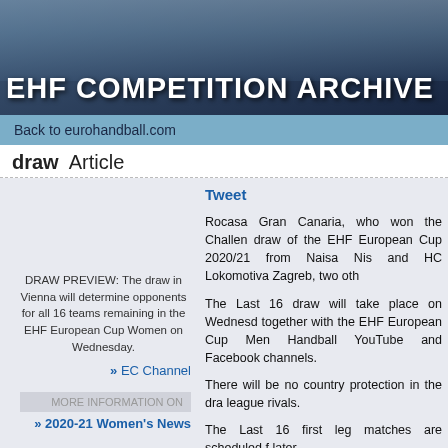[Figure (photo): EHF Competition Archive banner with handball players silhouettes and white bold text 'EHF COMPETITION ARCHIVE']
Back to eurohandball.com
draw  Article
Tweet
DRAW PREVIEW: The draw in Vienna will determine opponents for all 16 teams remaining in the EHF European Cup Women on Wednesday.
» EC Channel
MORE INFORMATION ON
» 2020-21 Women's News
Rocasa Gran Canaria, who won the Challenger draw of the EHF European Cup 2020/21 from Naisa Nis and HC Lokomotiva Zagreb, two oth
The Last 16 draw will take place on Wednesday together with the EHF European Cup Men Handball YouTube and Facebook channels.
There will be no country protection in the draw, league rivals.
The Last 16 first leg matches are scheduled fo later.